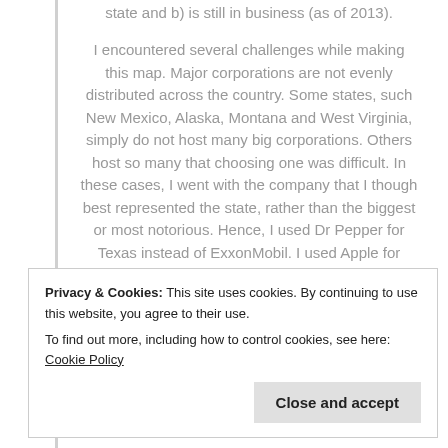state and b) is still in business (as of 2013).
I encountered several challenges while making this map. Major corporations are not evenly distributed across the country. Some states, such New Mexico, Alaska, Montana and West Virginia, simply do not host many big corporations. Others host so many that choosing one was difficult. In these cases, I went with the company that I though best represented the state, rather than the biggest or most notorious. Hence, I used Dr Pepper for Texas instead of ExxonMobil. I used Apple for California instead of Google or Facebook. I also had a problem with some of the smaller states like Vermont and Delaware.
Privacy & Cookies: This site uses cookies. By continuing to use this website, you agree to their use.
To find out more, including how to control cookies, see here: Cookie Policy
Close and accept